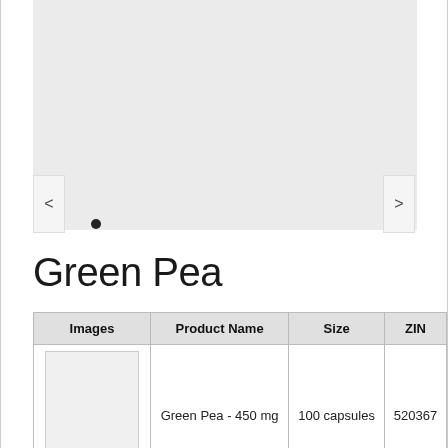[Figure (photo): Product image carousel area — light gray background with left and right navigation arrows and one dot indicator]
Green Pea
| Images | Product Name | Size | ZIN |
| --- | --- | --- | --- |
| see all images | Green Pea - 450 mg | 100 capsules | 520367 |